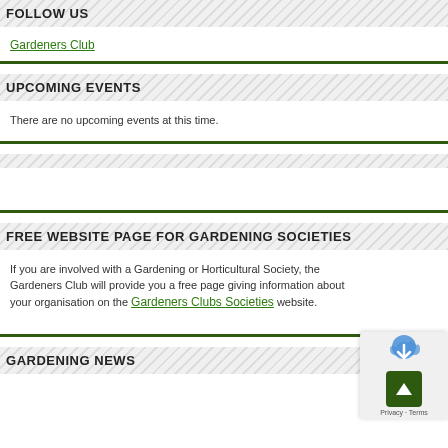FOLLOW US
Gardeners Club
UPCOMING EVENTS
There are no upcoming events at this time.
FREE WEBSITE PAGE FOR GARDENING SOCIETIES
If you are involved with a Gardening or Horticultural Society, the Gardeners Club will provide you a free page giving information about your organisation on the Gardeners Clubs Societies website.
GARDENING NEWS